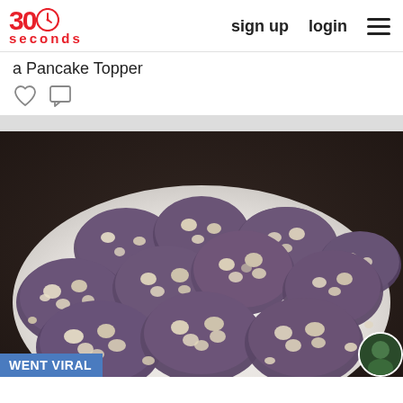30 seconds — sign up  login  ☰
a Pancake Topper
[Figure (photo): A pile of dark purple/chocolate cookies with white chocolate chips on a white plate, on a dark countertop background]
WENT VIRAL